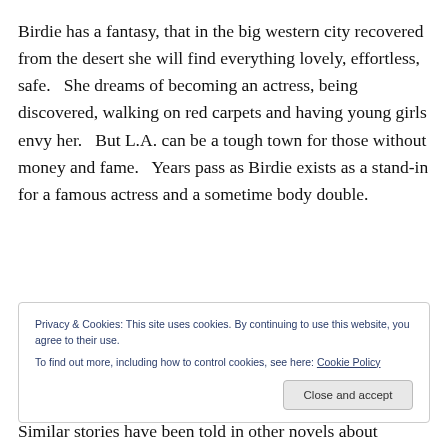Birdie has a fantasy, that in the big western city recovered from the desert she will find everything lovely, effortless, safe.  She dreams of becoming an actress, being discovered, walking on red carpets and having young girls envy her.  But L.A. can be a tough town for those without money and fame.  Years pass as Birdie exists as a stand-in for a famous actress and a sometime body double.
Privacy & Cookies: This site uses cookies. By continuing to use this website, you agree to their use. To find out more, including how to control cookies, see here: Cookie Policy
Similar stories have been told in other novels about